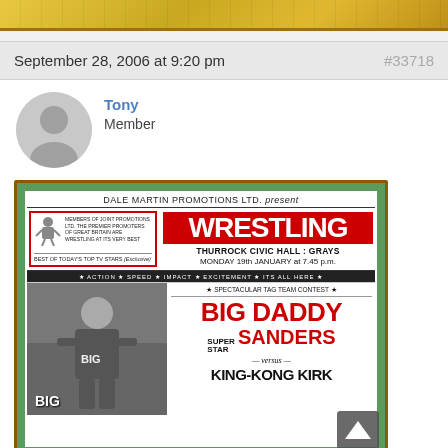[Figure (photo): Top cropped image bar, partially visible yellow/gold colored image]
September 28, 2006 at 9:20 pm
#33718
Tony
Member
[Figure (photo): Wrestling event poster: Dale Martin Promotions Ltd. present Wrestling at Thurrock Civic Hall, Grays, Monday 19th January at 7.45 pm. Features Big Daddy, Super Star Sanders versus King-Kong Kirk. Black and white photo of wrestler at left.]